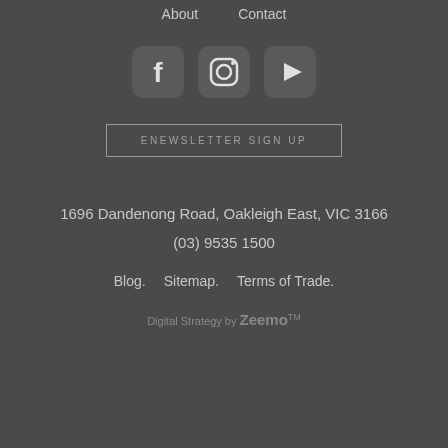About    Contact
[Figure (illustration): Three social media icons: Facebook (rounded square with f), Instagram (rounded square with camera icon), YouTube (rounded square with play triangle)]
ENEWSLETTER SIGN UP
1696 Dandenong Road, Oakleigh East, VIC 3166
(03) 9535 1500
Blog.    Sitemap.    Terms of Trade.
Digital Strategy by Zeemo TM